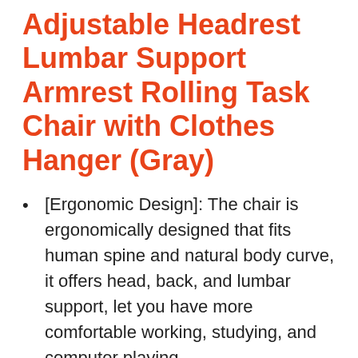Adjustable Headrest Lumbar Support Armrest Rolling Task Chair with Clothes Hanger (Gray)
[Ergonomic Design]: The chair is ergonomically designed that fits human spine and natural body curve, it offers head, back, and lumbar support, let you have more comfortable working, studying, and computer playing.
[Mesh Seat and Back]: It uses high grade mesh cloth for the chair back